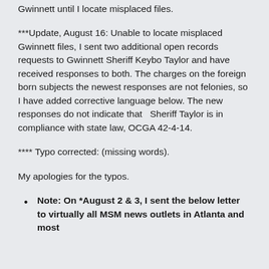…I submitted the copy below on open records requests in Gwinnett until I locate misplaced files.
***Update, August 16: Unable to locate misplaced Gwinnett files, I sent two additional open records requests to Gwinnett Sheriff Keybo Taylor and have received responses to both. The charges on the foreign born subjects the newest responses are not felonies, so I have added corrective language below. The new responses do not indicate that  Sheriff Taylor is in compliance with state law, OCGA 42-4-14.
**** Typo corrected: (missing words).
My apologies for the typos.
Note: On *August 2 & 3, I sent the below letter to virtually all MSM news outlets in Atlanta and most